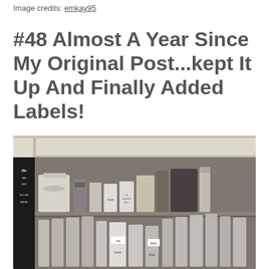Image credits: emkay95
#48 Almost A Year Since My Original Post...kept It Up And Finally Added Labels!
[Figure (photo): Photograph of an organized pantry cabinet with labeled containers on two shelves. A coffee chalkboard sign is visible on the left side. Various clear and white canisters with handwritten labels including sugar and all-purpose flour are visible.]